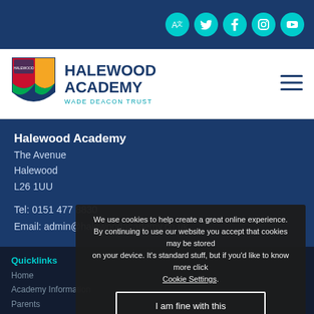[Figure (screenshot): Top navigation bar with social media icons (translate, Twitter, Facebook, Instagram, YouTube) on dark blue background]
[Figure (logo): Halewood Academy shield logo with Wade Deacon Trust branding and hamburger menu icon]
Halewood Academy
The Avenue
Halewood
L26 1UU

Tel: 0151 477 8830
Email: admin@halewoodacademy.co.uk
Quicklinks
Home
Academy Information
Parents
Curriculum
Pupils
Contact Us
We use cookies to help create a great online experience. By continuing to use our website you accept that cookies may be stored on your device. It's standard stuff, but if you'd like to know more click Cookie Settings. I am fine with this